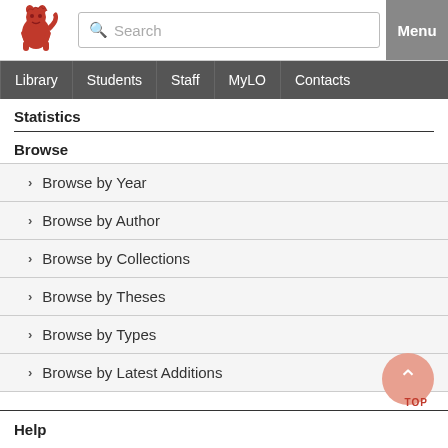[Figure (logo): Red lion heraldic logo on white background]
Search | Menu | Library | Students | Staff | MyLO | Contacts
Statistics
Browse
> Browse by Year
> Browse by Author
> Browse by Collections
> Browse by Theses
> Browse by Types
> Browse by Latest Additions
Help
[Figure (illustration): TOP button with upward arrow, salmon/pink circular button]